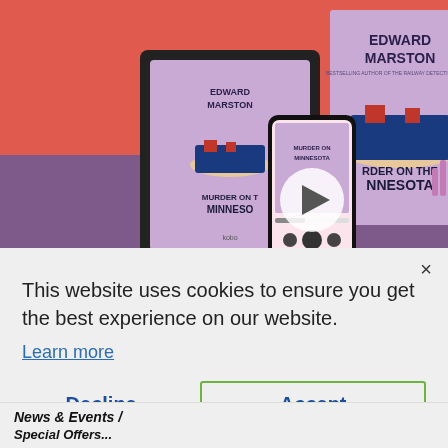[Figure (screenshot): Book promotional image showing Edward Marston 'Murder on the Minnesota' in ebook and audiobook/print formats on a red and purple background, with a play button overlay. A phone shows an audiobook player. The book covers show a steamship illustration.]
This website uses cookies to ensure you get the best experience on our website.
Learn more
Decline
Accept
News & Events /
Special Offers...